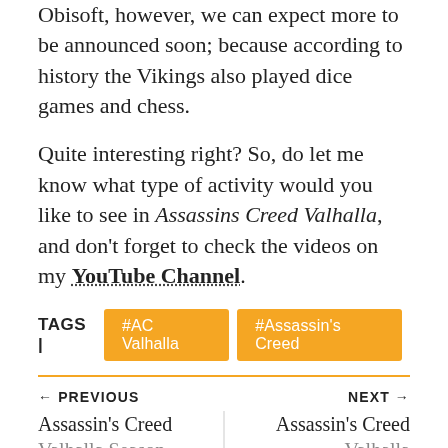Obisoft, however, we can expect more to be announced soon; because according to history the Vikings also played dice games and chess.
Quite interesting right? So, do let me know what type of activity would you like to see in Assassins Creed Valhalla, and don't forget to check the videos on my YouTube Channel.
TAGS | #AC Valhalla #Assassin's Creed
← PREVIOUS   NEXT →
Assassin's Creed   Assassin's Creed
Valhalla Season Pass Details: Legend   Valhalla Companion: Synin's